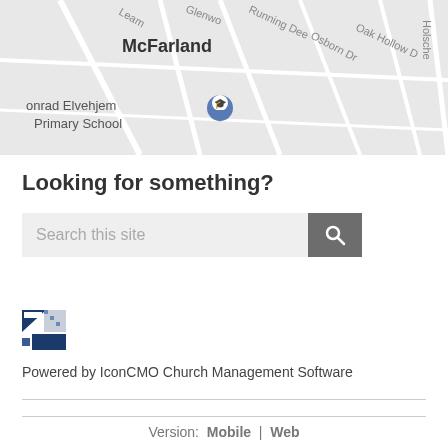[Figure (map): Street map showing McFarland area with Conrad Elvehjem Primary School marker, and streets including Leam, Glenwood, Running Deer, Osborn Dr, Oak Hollow D, Holsche]
Looking for something?
[Figure (screenshot): Search bar with placeholder text 'Search this site' and a dark grey search button with magnifying glass icon]
[Figure (logo): Small logo image with blue and white geometric pattern]
Powered by IconCMO Church Management Software
Version:  Mobile  |  Web